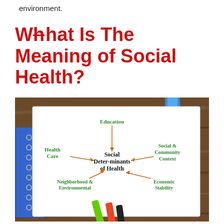environment.
What Is The Meaning of Social Health?
[Figure (photo): A photograph of a handwritten diagram on white paper showing 'Social Determinants of Health' in the center, with arrows pointing to/from: Education (top), Health Care (left), Social & Community Context (right), Neighborhood & Environmental (bottom-left), Economic Stability (bottom-right). Two markers (green and red/orange) are visible in the foreground. The paper sits on a wooden surface with a blue spiral notebook visible.]